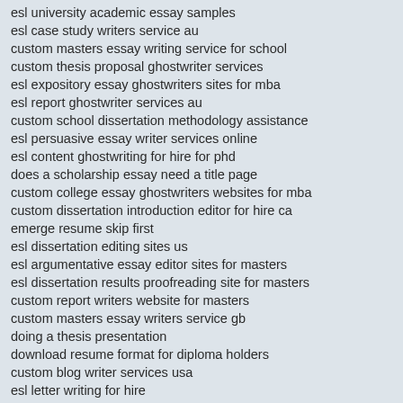esl university academic essay samples
esl case study writers service au
custom masters essay writing service for school
custom thesis proposal ghostwriter services
esl expository essay ghostwriters sites for mba
esl report ghostwriter services au
custom school dissertation methodology assistance
esl persuasive essay writer services online
esl content ghostwriting for hire for phd
does a scholarship essay need a title page
custom college essay ghostwriters websites for mba
custom dissertation introduction editor for hire ca
emerge resume skip first
esl dissertation editing sites us
esl argumentative essay editor sites for masters
esl dissertation results proofreading site for masters
custom report writers website for masters
custom masters essay writers service gb
doing a thesis presentation
download resume format for diploma holders
custom blog writer services usa
esl letter writing for hire
cv writing and career advice
driving schools business plan
debateable topics for essays